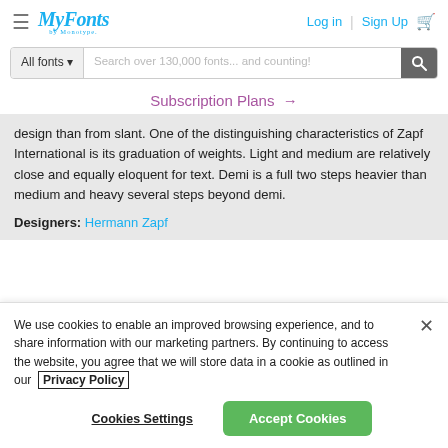[Figure (logo): MyFonts by Monotype logo in blue italic script]
Log in | Sign Up [cart]
Search over 130,000 fonts... and counting!
Subscription Plans →
design than from slant. One of the distinguishing characteristics of Zapf International is its graduation of weights. Light and medium are relatively close and equally eloquent for text. Demi is a full two steps heavier than medium and heavy several steps beyond demi.
Designers: Hermann Zapf
We use cookies to enable an improved browsing experience, and to share information with our marketing partners. By continuing to access the website, you agree that we will store data in a cookie as outlined in our Privacy Policy
Cookies Settings    Accept Cookies